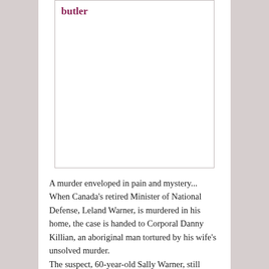[Figure (illustration): Book cover image placeholder box with 'butler' label in dark red/maroon at top left]
A murder enveloped in pain and mystery... When Canada’s retired Minister of National Defense, Leland Warner, is murdered in his home, the case is handed to Corporal Danny Killian, an aboriginal man tortured by his wife’s unsolved murder. The suspect, 60-year-old Sally Warner, still grieves for the loss of her two sons, dead in a